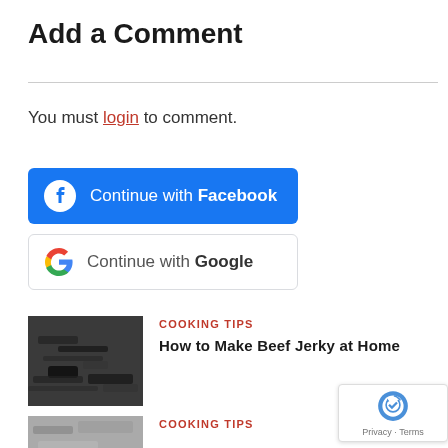Add a Comment
You must login to comment.
[Figure (screenshot): Blue Facebook login button with Facebook icon and text 'Continue with Facebook']
[Figure (screenshot): White Google login button with Google G icon and text 'Continue with Google']
[Figure (photo): Photo of beef jerky on a dark surface]
COOKING TIPS
How to Make Beef Jerky at Home
COOKING TIPS
[Figure (screenshot): reCAPTCHA privacy badge bottom right]